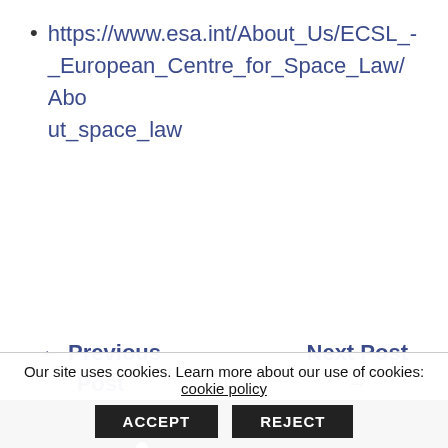https://www.esa.int/About_Us/ECSL_-_European_Centre_for_Space_Law/About_space_law
← Previous Post    Next Post →
[Figure (logo): JURIS logo - justice figure with scales and large serif text 'JURIS' on black background]
Our site uses cookies. Learn more about our use of cookies: cookie policy  ACCEPT  REJECT